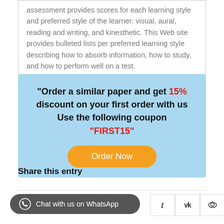assessment provides scores for each learning style and preferred style of the learner: visual, aural, reading and writing, and kinesthetic. This Web site provides bulleted lists per preferred learning style describing how to absorb information, how to study, and how to perform well on a test.
"Order a similar paper and get 15% discount on your first order with us Use the following coupon "FIRST15"
Order Now
Share this entry
Chat with us on WhatsApp